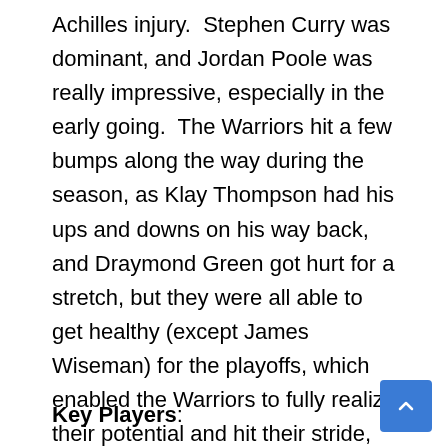Achilles injury.  Stephen Curry was dominant, and Jordan Poole was really impressive, especially in the early going.  The Warriors hit a few bumps along the way during the season, as Klay Thompson had his ups and downs on his way back, and Draymond Green got hurt for a stretch, but they were all able to get healthy (except James Wiseman) for the playoffs, which enabled the Warriors to fully realize their potential and hit their stride, and they were able to defeat a slew of teams to get to the 2022 NBA Finals. There, the 2022 Golden State Warriors faced a tough Boston Celtics squad, and they were able to battle back to win in 6 games to win the title.
Key Players: